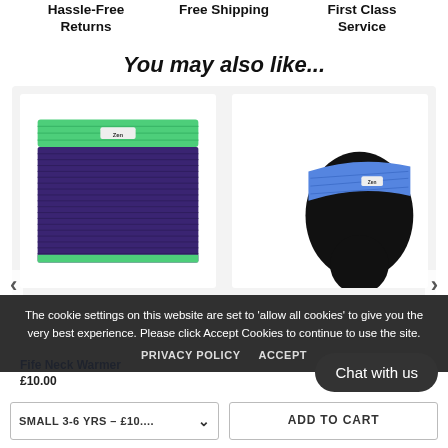Hassle-Free Returns
Free Shipping
First Class Service
You may also like...
[Figure (photo): Green and purple knitted neck warmer with a small logo label on the green band]
[Figure (photo): Blue knitted headband worn on a dark silhouette mannequin head with small logo label]
The cookie settings on this website are set to 'allow all cookies' to give you the very best experience. Please click Accept Cookies to continue to use the site.
PRIVACY POLICY   ACCEPT
Fife Neck Warmer
£10.00
SMALL 3-6 YRS – £10....
ADD TO CART
Chat with us